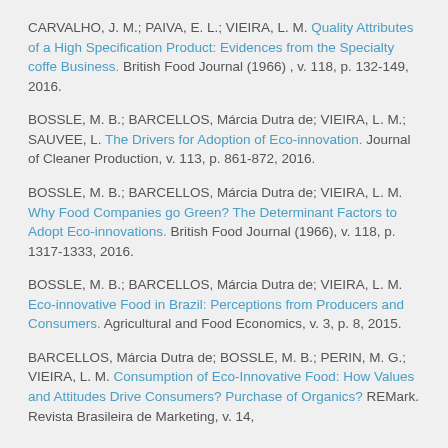CARVALHO, J. M.; PAIVA, E. L.; VIEIRA, L. M. Quality Attributes of a High Specification Product: Evidences from the Specialty coffe Business. British Food Journal (1966) , v. 118, p. 132-149, 2016.
BOSSLE, M. B.; BARCELLOS, Márcia Dutra de; VIEIRA, L. M.; SAUVEE, L. The Drivers for Adoption of Eco-innovation. Journal of Cleaner Production, v. 113, p. 861-872, 2016.
BOSSLE, M. B.; BARCELLOS, Márcia Dutra de; VIEIRA, L. M. Why Food Companies go Green? The Determinant Factors to Adopt Eco-innovations. British Food Journal (1966), v. 118, p. 1317-1333, 2016.
BOSSLE, M. B.; BARCELLOS, Márcia Dutra de; VIEIRA, L. M. Eco-innovative Food in Brazil: Perceptions from Producers and Consumers. Agricultural and Food Economics, v. 3, p. 8, 2015.
BARCELLOS, Márcia Dutra de; BOSSLE, M. B.; PERIN, M. G.; VIEIRA, L. M. Consumption of Eco-Innovative Food: How Values and Attitudes Drive Consumers? Purchase of Organics? REMark. Revista Brasileira de Marketing, v. 14,